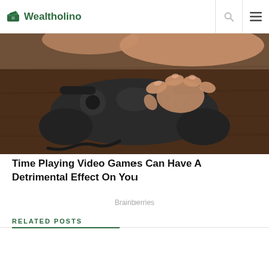Wealtholino
[Figure (photo): Close-up photo of a person's hand holding a dark game controller on a wooden surface]
Time Playing Video Games Can Have A Detrimental Effect On You
Brainberries
RELATED POSTS